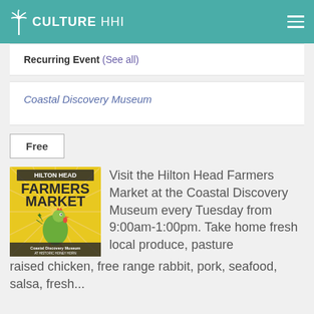Culture HHI
Recurring Event (See all)
Coastal Discovery Museum
Free
[Figure (illustration): Hilton Head Farmers Market poster with a rooster on a yellow sunburst background. Text: HILTON HEAD FARMERS MARKET, Coastal Discovery Museum AT HISTORIC HONEY HORN]
Visit the Hilton Head Farmers Market at the Coastal Discovery Museum every Tuesday from 9:00am-1:00pm. Take home fresh local produce, pasture raised chicken, free range rabbit, pork, seafood, salsa, fresh...